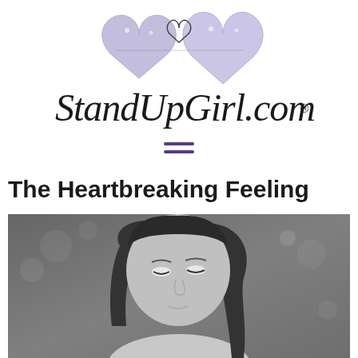[Figure (logo): StandUpGirl.com logo with two purple illustrated hearts and cursive script text reading StandUpGirl.com with registered trademark symbol]
[Figure (other): Purple hamburger menu icon consisting of three horizontal lines]
The Heartbreaking Feeling
[Figure (photo): Black and white portrait photograph of a young woman with long dark hair, looking downward with a sad or pensive expression, outdoor background with soft bokeh]